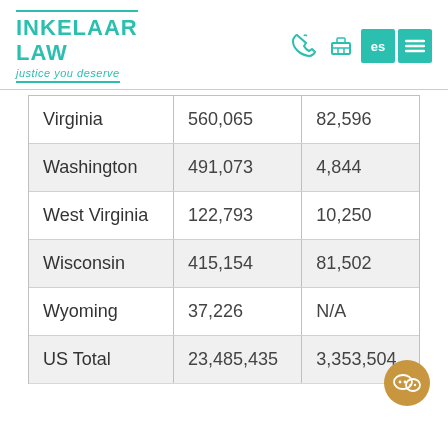[Figure (logo): Inkelaar Law logo with teal text and tagline 'justice you deserve']
| Virginia | 560,065 | 82,596 |
| Washington | 491,073 | 4,844 |
| West Virginia | 122,793 | 10,250 |
| Wisconsin | 415,154 | 81,502 |
| Wyoming | 37,226 | N/A |
| US Total | 23,485,435 | 3,353,504 |